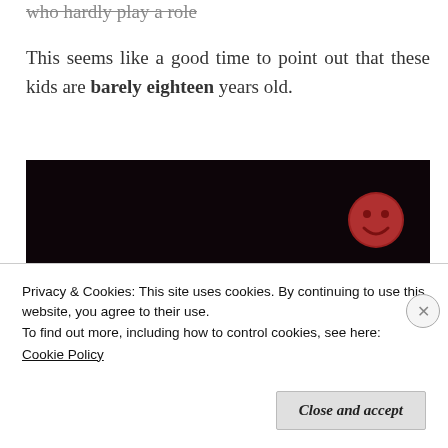who hardly play a role
This seems like a good time to point out that these kids are barely eighteen years old.
[Figure (illustration): Dark space-themed illustration with a cartoon rocket ship with a round window/eye, a smiley face planet or moon glowing red in the upper right, and small white dashes suggesting movement or stars, all on a very dark near-black background.]
Privacy & Cookies: This site uses cookies. By continuing to use this website, you agree to their use.
To find out more, including how to control cookies, see here:
Cookie Policy
Close and accept